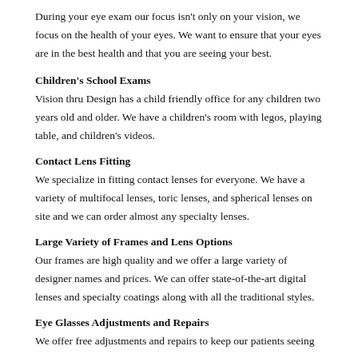During your eye exam our focus isn't only on your vision, we focus on the health of your eyes. We want to ensure that your eyes are in the best health and that you are seeing your best.
Children's School Exams
Vision thru Design has a child friendly office for any children two years old and older. We have a children's room with legos, playing table, and children's videos.
Contact Lens Fitting
We specialize in fitting contact lenses for everyone. We have a variety of multifocal lenses, toric lenses, and spherical lenses on site and we can order almost any specialty lenses.
Large Variety of Frames and Lens Options
Our frames are high quality and we offer a large variety of designer names and prices. We can offer state-of-the-art digital lenses and specialty coatings along with all the traditional styles.
Eye Glasses Adjustments and Repairs
We offer free adjustments and repairs to keep our patients seeing